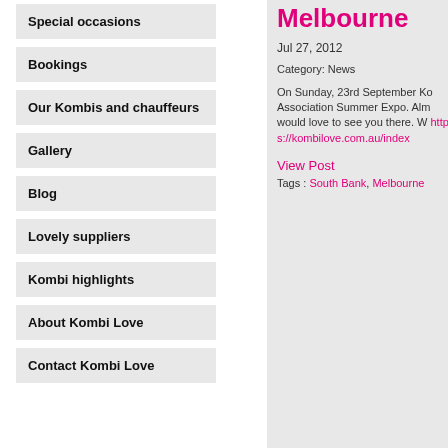Special occasions
Bookings
Our Kombis and chauffeurs
Gallery
Blog
Lovely suppliers
Kombi highlights
About Kombi Love
Contact Kombi Love
Melbourne
Jul 27, 2012
Category: News
On Sunday, 23rd September Ko… Association Summer Expo. Alm… would love to see you there. W… https://kombilove.com.au/index…
View Post
Tags : South Bank, Melbourne